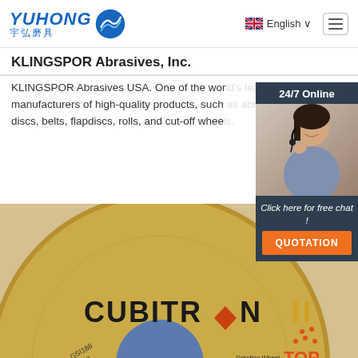[Figure (logo): Yuhong 宇弘磨具 logo with blue wave graphic]
English ∨
KLINGSPOR Abrasives, Inc.
KLINGSPOR Abrasives USA. One of the world's leading manufacturers of high-quality products, such as abrasives discs, belts, flapdiscs, rolls, and cut-off wheels.
Get Price
[Figure (photo): Cubitron II grinding wheel/cut-off disc close-up photo]
[Figure (photo): 24/7 Online chat widget with customer service representative photo, Click here for free chat!, QUOTATION button]